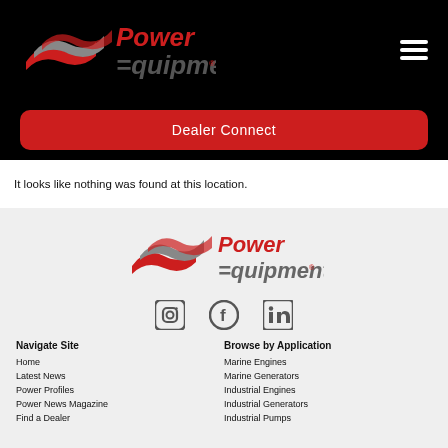[Figure (logo): Power Equipment logo with wave graphic on black header background]
[Figure (illustration): Hamburger menu icon (three horizontal lines) on black background]
Dealer Connect
It looks like nothing was found at this location.
[Figure (logo): Power Equipment logo centered in footer area on light gray background]
[Figure (illustration): Social media icons: Instagram, Facebook, LinkedIn]
Navigate Site
Browse by Application
Home
Latest News
Power Profiles
Power News Magazine
Find a Dealer
Marine Engines
Marine Generators
Industrial Engines
Industrial Generators
Industrial Pumps